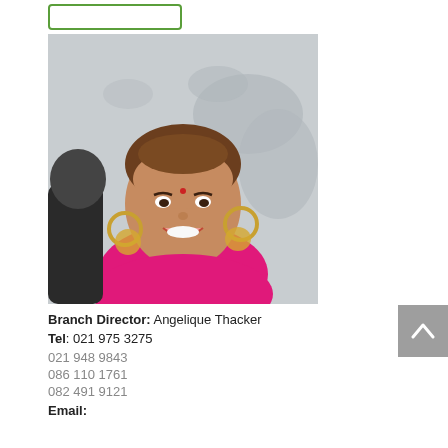[Figure (photo): Portrait photo of Angelique Thacker, a woman with brown hair pulled back, wearing gold hoop earrings and a bright pink top, smiling, with a grey world map background]
Branch Director: Angelique Thacker
Tel: 021 975 3275
021 948 9843
086 110 1761
082 491 9121
Email: